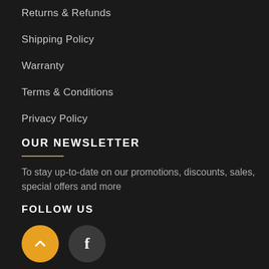Returns & Refunds
Shipping Policy
Warranty
Terms & Conditions
Privacy Policy
OUR NEWSLETTER
To stay up-to-date on our promotions, discounts, sales, special offers and more
FOLLOW US
[Figure (illustration): Two circular icon buttons: a yellow circle with an upward chevron arrow, and a dark gray circle with a white Facebook 'f' letter]